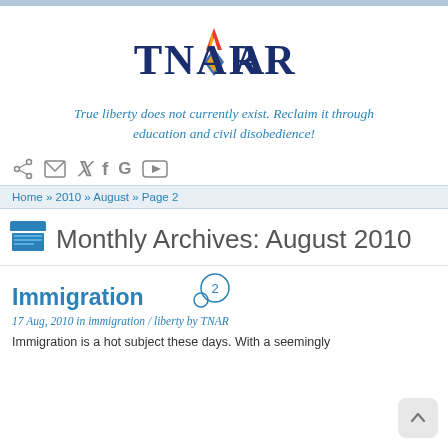[Figure (logo): TNAR logo with torch/flame icon and dark blue serif text]
True liberty does not currently exist. Reclaim it through education and civil disobedience!
[Figure (infographic): Social media icons: RSS, email, Twitter, Facebook, Google+, YouTube]
Home » 2010 » August » Page 2
Monthly Archives: August 2010
Immigration
17 Aug, 2010 in immigration / liberty by TNAR
Immigration is a hot subject these days. With a seemingly